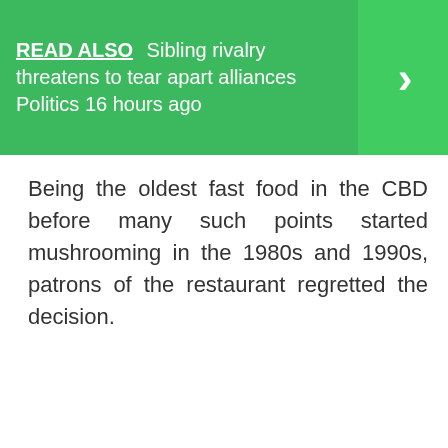READ ALSO  Sibling rivalry threatens to tear apart alliances Politics 16 hours ago
Being the oldest fast food in the CBD before many such points started mushrooming in the 1980s and 1990s, patrons of the restaurant regretted the decision.